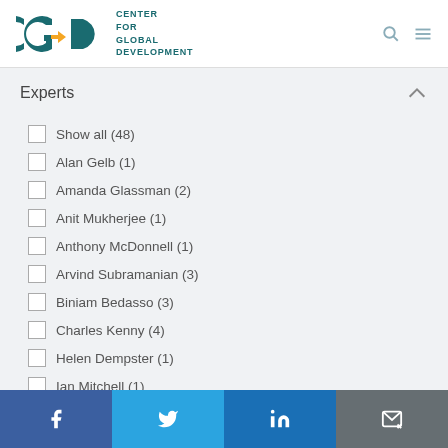[Figure (logo): Center for Global Development (CGD) logo with teal CGD letters and yellow arrow, accompanied by text 'CENTER FOR GLOBAL DEVELOPMENT']
Experts
Show all (48)
Alan Gelb (1)
Amanda Glassman (2)
Anit Mukherjee (1)
Anthony McDonnell (1)
Arvind Subramanian (3)
Biniam Bedasso (3)
Charles Kenny (4)
Helen Dempster (1)
Ian Mitchell (1)
Irina Gymmer (1)
Facebook | Twitter | LinkedIn | Email